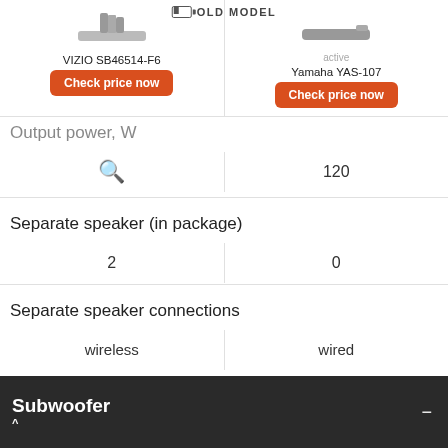[Figure (screenshot): Product header row showing VIZIO SB46514-F6 (left) with soundbar image and Check price now button, and Yamaha YAS-107 (right) with OLD MODEL badge, soundbar image, and Check price now button]
Output power, W
| VIZIO SB46514-F6 | Yamaha YAS-107 |
| --- | --- |
| (search icon) | 120 |
| 2 | 0 |
| wireless | wired |
Separate speaker (in package)
Separate speaker connections
Subwoofer